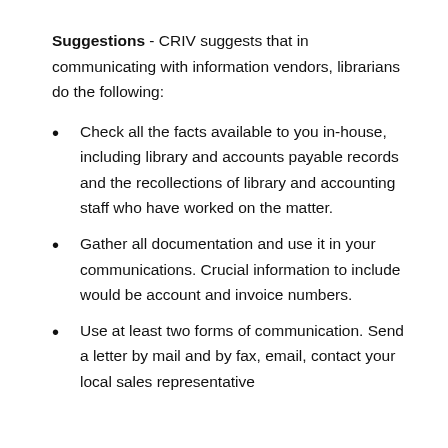Suggestions - CRIV suggests that in communicating with information vendors, librarians do the following:
Check all the facts available to you in-house, including library and accounts payable records and the recollections of library and accounting staff who have worked on the matter.
Gather all documentation and use it in your communications. Crucial information to include would be account and invoice numbers.
Use at least two forms of communication. Send a letter by mail and by fax, email, contact your local sales representative